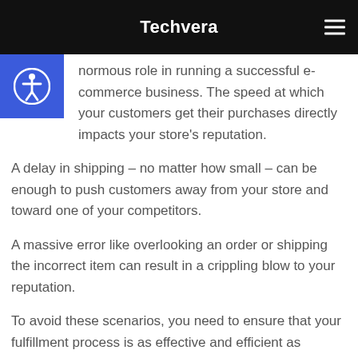Techvera
normous role in running a successful e-commerce business. The speed at which your customers get their purchases directly impacts your store's reputation.
A delay in shipping – no matter how small – can be enough to push customers away from your store and toward one of your competitors.
A massive error like overlooking an order or shipping the incorrect item can result in a crippling blow to your reputation.
To avoid these scenarios, you need to ensure that your fulfillment process is as effective and efficient as possible.